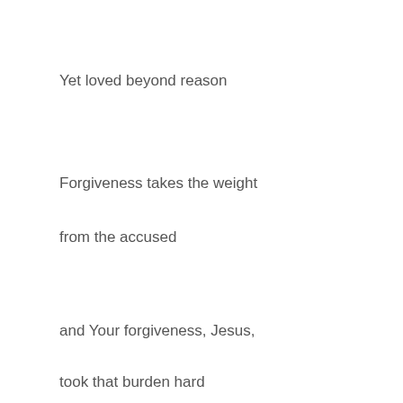Yet loved beyond reason
Forgiveness takes the weight
from the accused
and Your forgiveness, Jesus,
took that burden hard